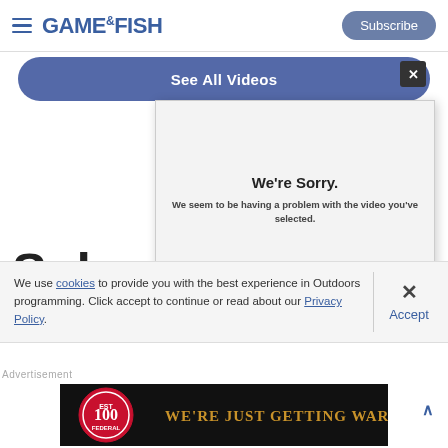GAME&FISH — Subscribe
See All Videos
[Figure (screenshot): Video player error popup showing 'We're Sorry. We seem to be having a problem with the video you've selected.' with error code at bottom right.]
Sub
We use cookies to provide you with the best experience in Outdoors programming. Click accept to continue or read about our Privacy Policy.
Accept
Advertisement
[Figure (other): Federal ammunition advertisement banner: '100' badge logo and text 'WE'RE JUST GETTING WARMED UP' on black background.]